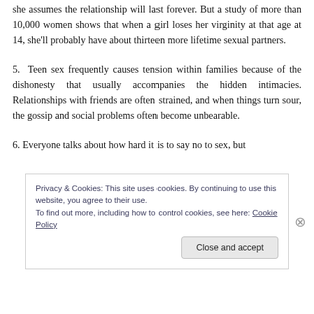she assumes the relationship will last forever. But a study of more than 10,000 women shows that when a girl loses her virginity at that age at 14, she'll probably have about thirteen more lifetime sexual partners.
5.  Teen sex frequently causes tension within families because of the dishonesty that usually accompanies the hidden intimacies. Relationships with friends are often strained, and when things turn sour, the gossip and social problems often become unbearable.
6. Everyone talks about how hard it is to say no to sex, but
Privacy & Cookies: This site uses cookies. By continuing to use this website, you agree to their use.
To find out more, including how to control cookies, see here: Cookie Policy